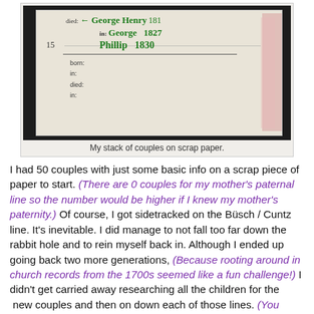[Figure (photo): A stack of paper cards/scrap papers with handwritten genealogy notes. Visible handwriting includes names George, Phillip with years 1827 and 1830, and fields for born, in, died, in. The number 15 is visible on the left side.]
My stack of couples on scrap paper.
I had 50 couples with just some basic info on a scrap piece of paper to start. (There are 0 couples for my mother's paternal line so the number would be higher if I knew my mother's paternity.) Of course, I got sidetracked on the Büsch / Cuntz line. It's inevitable. I did manage to not fall too far down the rabbit hole and to rein myself back in. Although I ended up going back two more generations, (Because rooting around in church records from the 1700s seemed like a fun challenge!) I didn't get carried away researching all the children for the  new couples and then on down each of those lines. (You know I was tempted!) I found a few records for the new generations which then added three more couples to my pile and then went back to